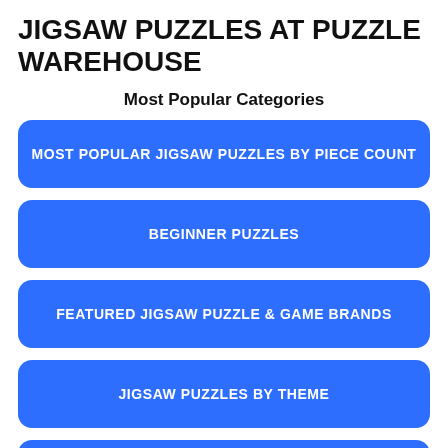JIGSAW PUZZLES AT PUZZLE WAREHOUSE
Most Popular Categories
MOST POPULAR JIGSAW PUZZLES BY PIECE COUNT
BEGINNER PUZZLES
FEATURED JIGSAW PUZZLE & GAME BRANDS
JIGSAW PUZZLES BY THEME
LARGE PIECE JIGSAW PUZZLES